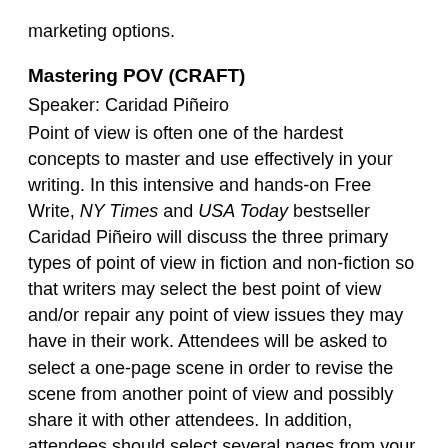marketing options.
Mastering POV (CRAFT)
Speaker: Caridad Piñeiro
Point of view is often one of the hardest concepts to master and use effectively in your writing. In this intensive and hands-on Free Write, NY Times and USA Today bestseller Caridad Piñeiro will discuss the three primary types of point of view in fiction and non-fiction so that writers may select the best point of view and/or repair any point of view issues they may have in their work. Attendees will be asked to select a one-page scene in order to revise the scene from another point of view and possibly share it with other attendees. In addition, attendees should select several pages from your work and have ready three different color highlighters in order to review those pages to determine if there are point of view issues.